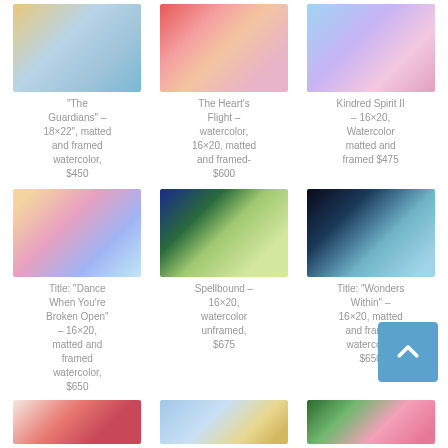[Figure (photo): Artwork image - The Guardians watercolor]
“The Guardians” – 18×22”, matted and framed watercolor, $450
[Figure (photo): Artwork image - The Heart's Flight watercolor]
The Heart’s Flight – watercolor, 16×20, matted and framed- $600
[Figure (photo): Artwork image - Kindred Spirit II watercolor]
Kindred Spirit II – 16×20, Watercolor matted and framed $475
[Figure (photo): Artwork image - Dance When You're Broken Open watercolor]
Title: “Dance When You’re Broken Open” – 16×20, matted and framed watercolor, $650
[Figure (photo): Artwork image - Spellbound watercolor]
Spellbound – 16×20, watercolor unframed, $675
[Figure (photo): Artwork image - Wonders Within watercolor]
Title: “Wonders Within” – 16×20, matted and framed watercolor, $650
[Figure (photo): Artwork image - partial view row 3 left]
[Figure (photo): Artwork image - partial view row 3 center]
[Figure (photo): Artwork image - partial view row 3 right]